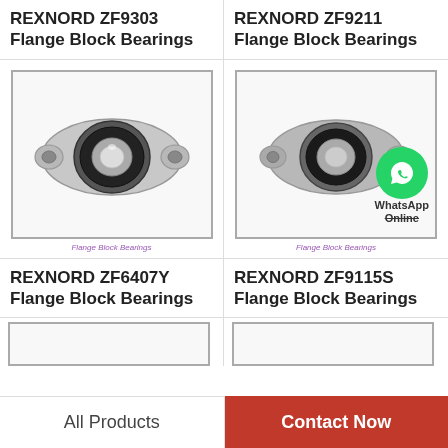REXNORD ZF9303 Flange Block Bearings
REXNORD ZF9211 Flange Block Bearings
[Figure (photo): Flange block bearing product photo - REXNORD ZF9303, two-bolt oval flange style, silver/gray metal housing with black rubber seal]
Flange Block Bearings
[Figure (photo): Flange block bearing product photo - REXNORD ZF9211, two-bolt oval flange style, with WhatsApp Online overlay logo]
Flange Block Bearings
REXNORD ZF6407Y Flange Block Bearings
REXNORD ZF9115S Flange Block Bearings
[Figure (photo): Partial view of flange block bearing product image at bottom left]
[Figure (photo): Partial view of flange block bearing product image at bottom right]
All Products
Contact Now